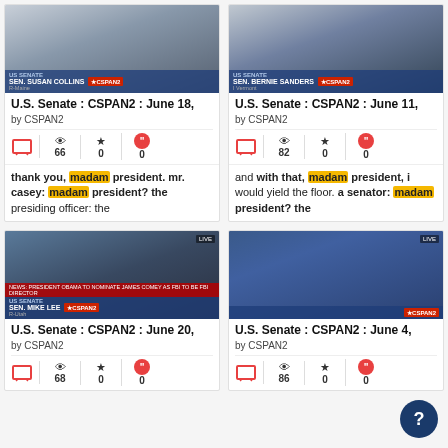[Figure (screenshot): CSPAN2 screenshot of Sen. Susan Collins speaking in U.S. Senate]
U.S. Senate : CSPAN2 : June 18,
by CSPAN2
66 views, 0 favorites, 0 quotes
thank you, madam president. mr. casey: madam president? the presiding officer: the
[Figure (screenshot): CSPAN2 screenshot of Sen. Bernie Sanders speaking in U.S. Senate]
U.S. Senate : CSPAN2 : June 11,
by CSPAN2
82 views, 0 favorites, 0 quotes
and with that, madam president, i would yield the floor. a senator: madam president? the
[Figure (screenshot): CSPAN2 screenshot of Sen. Mike Lee speaking in U.S. Senate, LIVE]
U.S. Senate : CSPAN2 : June 20,
by CSPAN2
68 views, 0 favorites, 0 quotes
[Figure (screenshot): CSPAN2 screenshot of U.S. Senate chamber, LIVE]
U.S. Senate : CSPAN2 : June 4,
by CSPAN2
86 views, 0 favorites, 0 quotes